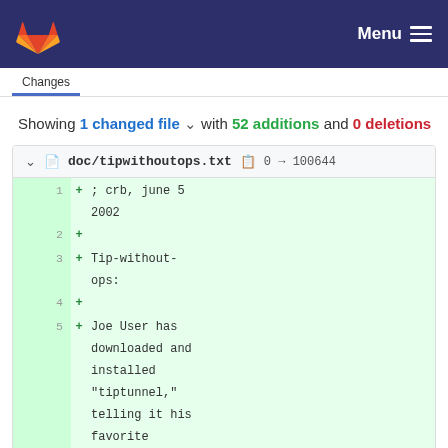GitLab Menu
Showing 1 changed file with 52 additions and 0 deletions
doc/tipwithoutops.txt  0 → 100644
1 + ; crb, june 5 2002
2 +
3 + Tip-without-ops:
4 +
5 + Joe User has downloaded and installed "tiptunnel," telling it his favorite telnet client
6 + and